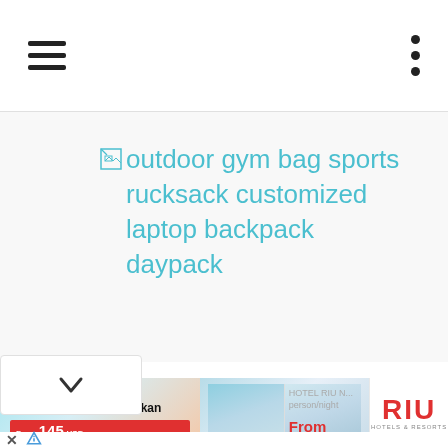[Figure (screenshot): Broken image placeholder with alt text: outdoor gym bag sports rucksack customized laptop backpack daypack]
[Figure (screenshot): Advertisement banner for Hotel Riu Palace Kukulkan: NEW! Hotel Riu Palace Kukulkan. From 145 USD. Hotel Riu N... person/night. From $129. RIU HOTELS & RESORTS logo.]